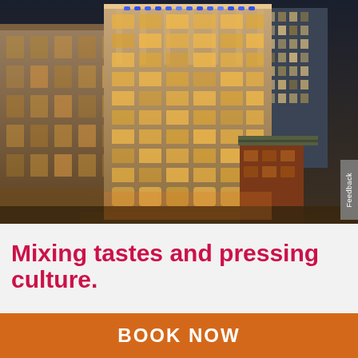[Figure (photo): Aerial/elevated nighttime view of tall historic illuminated urban hotel building with warm golden lighting on facade, surrounded by other city buildings. Blue accent lights visible on upper floors. City skyline in background.]
Mixing tastes and pressing culture.
BOOK NOW